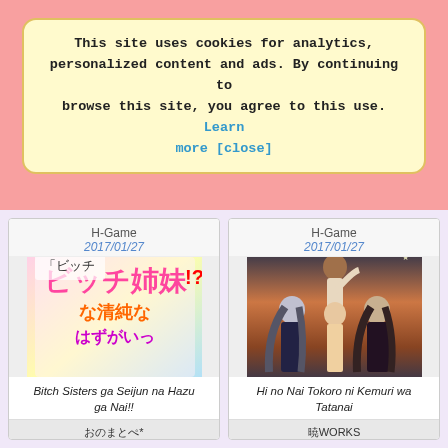This site uses cookies for analytics, personalized content and ads. By continuing to browse this site, you agree to this use. Learn more [close]
H-Game
2017/01/27
[Figure (illustration): Anime-style game cover art with Japanese text for Bitch Sisters ga Seijun na Hazu ga Nai!!]
Bitch Sisters ga Seijun na Hazu ga Nai!!
おのまとぺ*
onomatope*
H-Game
2017/01/27
[Figure (illustration): Anime-style game cover art showing several anime characters on an orange/sunset background, for Hi no Nai Tokoro ni Kemuri wa Tatanai]
Hi no Nai Tokoro ni Kemuri wa Tatanai
暁WORKS
Akatsuki Works